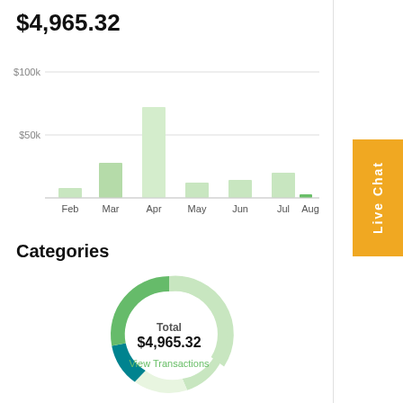$4,965.32
[Figure (bar-chart): ]
Categories
[Figure (donut-chart): Donut chart showing spending categories totaling $4,965.32 with View Transactions link]